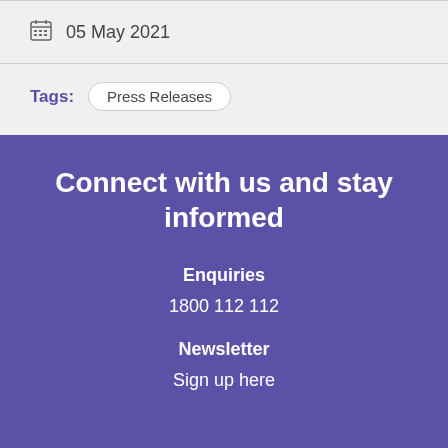05 May 2021
Tags: Press Releases
Connect with us and stay informed
Enquiries
1800 112 112
Newsletter
Sign up here